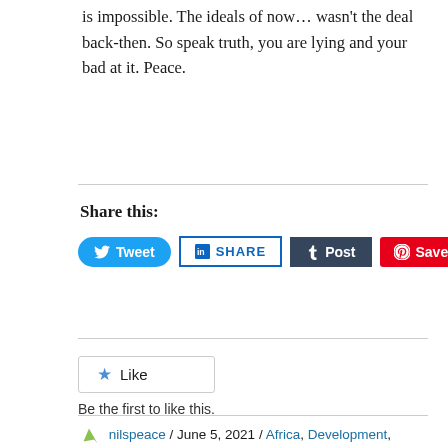is impossible. The ideals of now… wasn't the deal back-then. So speak truth, you are lying and your bad at it. Peace.
Share this:
[Figure (infographic): Social sharing buttons: Tweet (Twitter, blue), SHARE (LinkedIn, blue outline), Post (Tumblr, dark navy), Save (Pinterest, red)]
[Figure (infographic): Like button widget with star icon. Text: Be the first to like this.]
nilspeace / June 5, 2021 / Africa, Development, Governance, Government, Law, Leadership, Politics / FRONASA, GoU, Government of Uganda, National